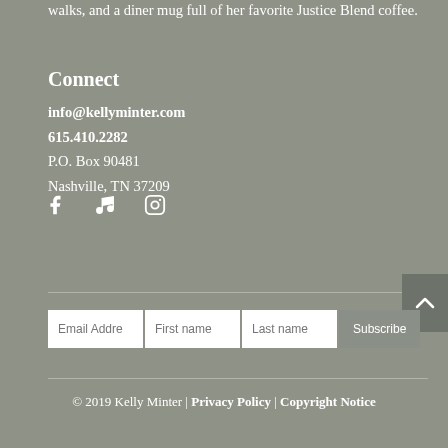walks, and a diner mug full of her favorite Justice Blend coffee.
Connect
info@kellyminter.com
615.410.2282
P.O. Box 90481
Nashville, TN 37209
[Figure (other): Social media icons: Facebook, music note, Instagram]
[Figure (other): Back to top arrow button]
Email Address, First name, Last name, Subscribe form fields
© 2019 Kelly Minter | Privacy Policy | Copyright Notice